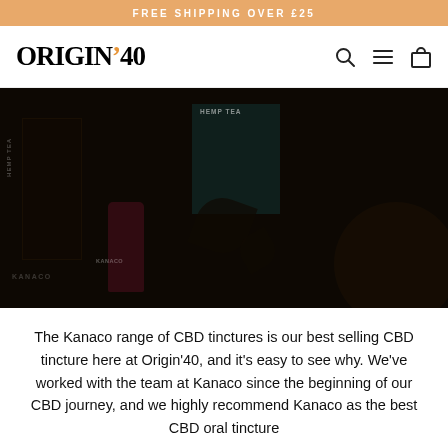FREE SHIPPING OVER £25
[Figure (logo): Origin'40 logo with orange accent dot on the apostrophe, with search, menu and cart icons on the right]
[Figure (photo): Dark overhead product photography showing Kanaco hemp tea boxes (teal packaging), a pink/red CBD tincture bottle, and other CBD products on a dark background with scattered tea leaves]
The Kanaco range of CBD tinctures is our best selling CBD tincture here at Origin'40, and it's easy to see why. We've worked with the team at Kanaco since the beginning of our CBD journey, and we highly recommend Kanaco as the best CBD oral tincture